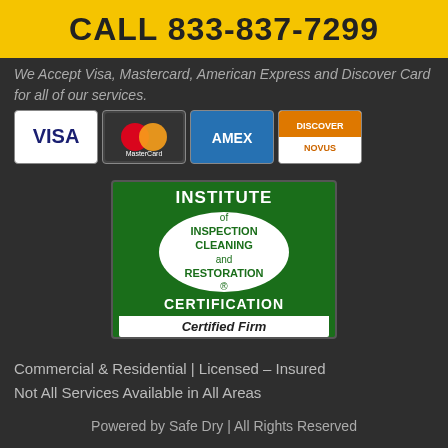CALL 833-837-7299
We Accept Visa, Mastercard, American Express and Discover Card for all of our services.
[Figure (logo): Payment card logos: VISA, MasterCard, AMEX, Discover Novus]
[Figure (logo): IICRC - Institute of Inspection Cleaning and Restoration Certification - Certified Firm badge]
Commercial & Residential | Licensed – Insured
Not All Services Available in All Areas
Powered by Safe Dry | All Rights Reserved